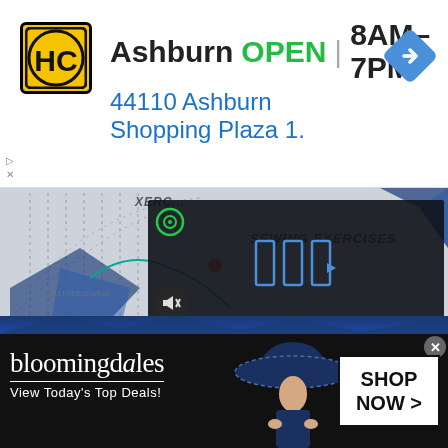[Figure (infographic): Top advertisement banner: HC (Honest Coupon?) logo in yellow square, text 'Ashburn OPEN | 8AM–7PM' with blue navigation diamond icon, and address '44110 Ashburn Shopping Plaza 1.' Below are small ad icons (triangle/x).]
[Figure (photo): Main content area showing sewing exercises document with dashed pattern lines, text 'SEWING EXERCISES' in bold italic on right side, blue origami/paper shapes, a teal thread line, and a dark video overlay panel with play button bars and mute button icon.]
[Figure (infographic): Bottom advertisement banner: Bloomingdale's logo with tagline 'View Today's Top Deals!', fashion model wearing navy wide-brim hat, 'SHOP NOW >' button on right, close X button in corner.]